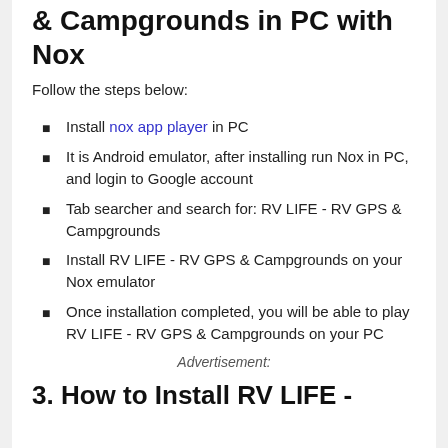& Campgrounds in PC with Nox
Follow the steps below:
Install nox app player in PC
It is Android emulator, after installing run Nox in PC, and login to Google account
Tab searcher and search for: RV LIFE - RV GPS & Campgrounds
Install RV LIFE - RV GPS & Campgrounds on your Nox emulator
Once installation completed, you will be able to play RV LIFE - RV GPS & Campgrounds on your PC
Advertisement:
3. How to Install RV LIFE -